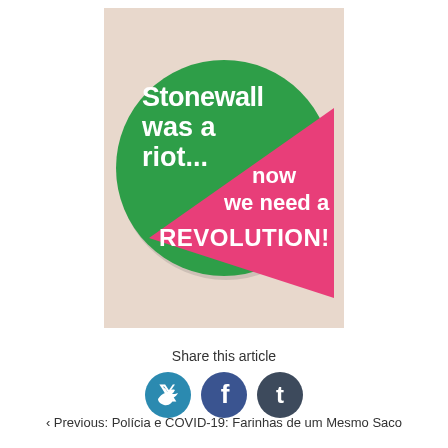[Figure (photo): A circular green button/badge with a pink triangle in the center. Text reads: 'Stonewall was a riot... now we need a REVOLUTION!' in white text.]
Share this article
[Figure (other): Three social media share icons: Twitter (bird), Facebook (f), and Tumblr (t), each in a dark teal/blue circle.]
‹ Previous: Polícia e COVID-19: Farinhas de um Mesmo Saco